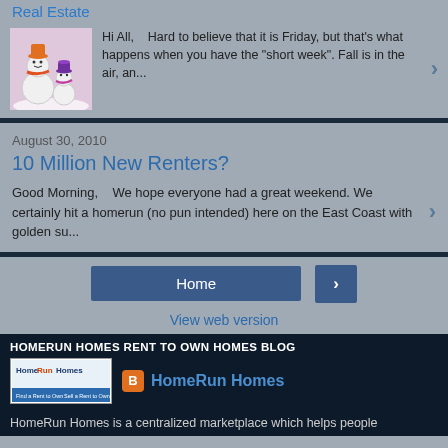Real Estate
[Figure (illustration): Two cartoon snowmen in winter scene, one wearing an orange hat and scarf, one smaller with purple hat]
Hi All,    Hard to believe that it is Friday, but that's what happens when you have the "short week". Fall is in the air, an...
August 30, 2010
10 Million New Renters?
Good Morning,    We hope everyone had a great weekend. We certainly hit a homerun (no pun intended) here on the East Coast with golden su...
Home
View web version
HOMERUN HOMES RENT TO OWN HOMES BLOG
[Figure (logo): HomeRun Homes logo with text 'Find a Rent to Own' and 'Sell a Rent to Own']
HomeRun Homes
HomeRun Homes is a centralized marketplace which helps people